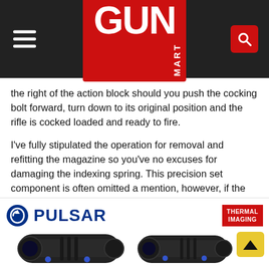GUN MART
the right of the action block should you push the cocking bolt forward, turn down to its original position and the rifle is cocked loaded and ready to fire.
I've fully stipulated the operation for removal and refitting the magazine so you've no excuses for damaging the indexing spring. This precision set component is often omitted a mention, however, if the procedure outlined isn't done correctly, the result is a rifle that can jam, not load correctly, or not index the magazine around at all.
[Figure (illustration): Pulsar thermal imaging advertisement banner with Pulsar logo, 'THERMAL IMAGING' red badge, and images of two black scope/monocular devices at the bottom]